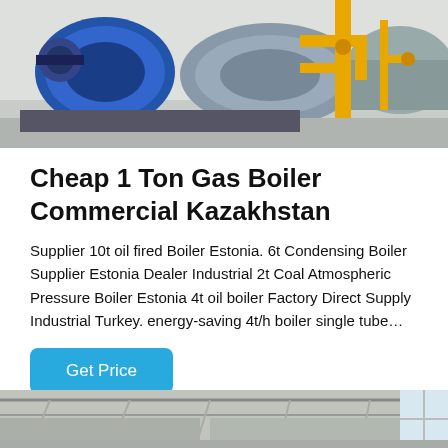[Figure (photo): Industrial boiler room with large blue gas boilers and yellow pipe fittings on a concrete floor.]
Cheap 1 Ton Gas Boiler Commercial Kazakhstan
Supplier 10t oil fired Boiler Estonia. 6t Condensing Boiler Supplier Estonia Dealer Industrial 2t Coal Atmospheric Pressure Boiler Estonia 4t oil boiler Factory Direct Supply Industrial Turkey. energy-saving 4t/h boiler single tube…
[Figure (photo): Interior of an industrial facility with metal ductwork and ceiling structure visible.]